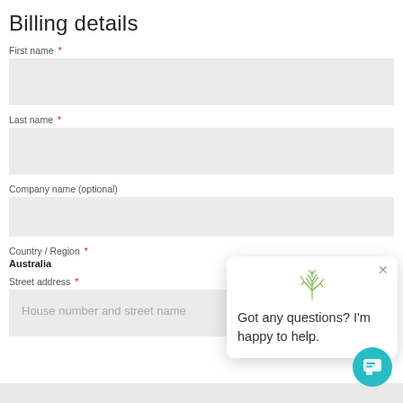Billing details
First name *
Last name *
Company name (optional)
Country / Region * Australia
Street address *
House number and street name
[Figure (screenshot): Chat popup widget with plant icon, close (x) button, and text 'Got any questions? I'm happy to help.' with a teal circular chat button in the bottom right corner.]